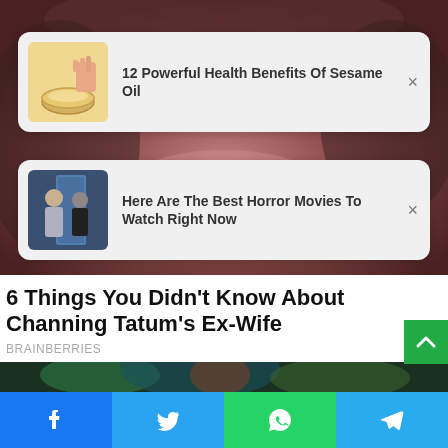[Figure (screenshot): Background photo of a person's lower face/smile, blurred]
[Figure (photo): Thumbnail of a hand holding a bowl, related to sesame oil article]
12 Powerful Health Benefits Of Sesame Oil
[Figure (photo): Thumbnail of two people from a horror movie]
Here Are The Best Horror Movies To Watch Right Now
6 Things You Didn't Know About Channing Tatum's Ex-Wife
BRAINBERRIES
[Figure (photo): Colorful carnival/festival photo with person in elaborate feathered costume]
[Figure (infographic): Social share bar with Facebook, Twitter, WhatsApp, and Telegram buttons]